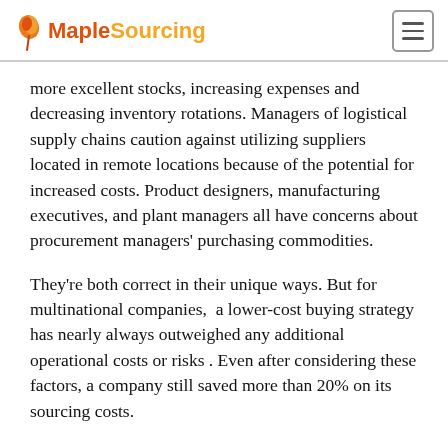Maple Sourcing
more excellent stocks, increasing expenses and decreasing inventory rotations. Managers of logistical supply chains caution against utilizing suppliers located in remote locations because of the potential for increased costs. Product designers, manufacturing executives, and plant managers all have concerns about procurement managers' purchasing commodities.
They're both correct in their unique ways. But for multinational companies,  a lower-cost buying strategy has nearly always outweighed any additional operational costs or risks . Even after considering these factors, a company still saved more than 20% on its sourcing costs.
When purchasing or operational managers attempt to execute a program without the explicit backing of top executives, it is sure to fail. It is possible to persuade people to accept change by providing a solid argument. To see whether the advantages of